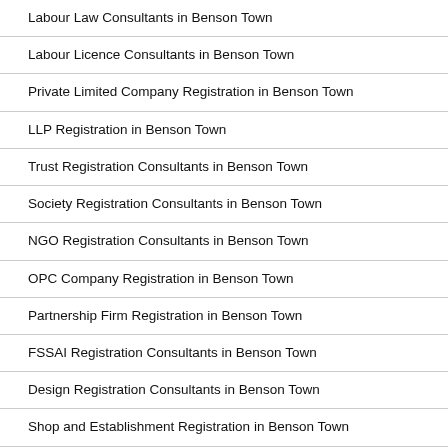Labour Law Consultants in Benson Town
Labour Licence Consultants in Benson Town
Private Limited Company Registration in Benson Town
LLP Registration in Benson Town
Trust Registration Consultants in Benson Town
Society Registration Consultants in Benson Town
NGO Registration Consultants in Benson Town
OPC Company Registration in Benson Town
Partnership Firm Registration in Benson Town
FSSAI Registration Consultants in Benson Town
Design Registration Consultants in Benson Town
Shop and Establishment Registration in Benson Town
SSI Registration Consultants in Benson Town
Intellectual Property Registration Consultants in Benson Town